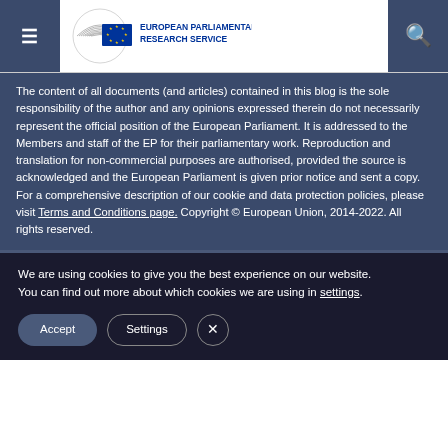European Parliamentary Research Service
The content of all documents (and articles) contained in this blog is the sole responsibility of the author and any opinions expressed therein do not necessarily represent the official position of the European Parliament. It is addressed to the Members and staff of the EP for their parliamentary work. Reproduction and translation for non-commercial purposes are authorised, provided the source is acknowledged and the European Parliament is given prior notice and sent a copy. For a comprehensive description of our cookie and data protection policies, please visit Terms and Conditions page. Copyright © European Union, 2014-2022. All rights reserved.
We are using cookies to give you the best experience on our website.
You can find out more about which cookies we are using in settings.